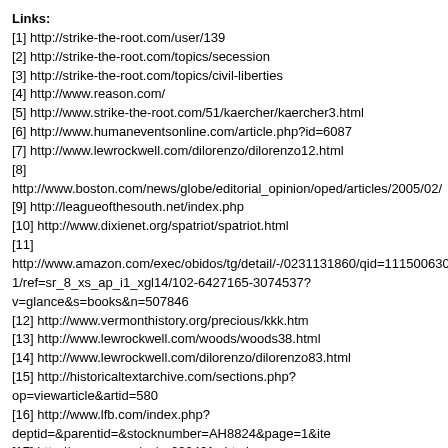Links:
[1] http://strike-the-root.com/user/139
[2] http://strike-the-root.com/topics/secession
[3] http://strike-the-root.com/topics/civil-liberties
[4] http://www.reason.com/
[5] http://www.strike-the-root.com/51/kaercher/kaercher3.html
[6] http://www.humaneventsonline.com/article.php?id=6087
[7] http://www.lewrockwell.com/dilorenzo/dilorenzo12.html
[8] http://www.boston.com/news/globe/editorial_opinion/oped/articles/2005/02/
[9] http://leagueofthesouth.net/index.php
[10] http://www.dixienet.org/spatriot/spatriot.html
[11] http://www.amazon.com/exec/obidos/tg/detail/-/0231131860/qid=11150063…/1/ref=sr_8_xs_ap_i1_xgl14/102-6427165-3074537?v=glance&amp;s=books&amp;n=507846
[12] http://www.vermonthistory.org/precious/kkk.htm
[13] http://www.lewrockwell.com/woods/woods38.html
[14] http://www.lewrockwell.com/dilorenzo/dilorenzo83.html
[15] http://historicaltextarchive.com/sections.php?op=viewarticle&amp;artid=580
[16] http://www.lfb.com/index.php?deptid=&amp;parentid=&amp;stocknumber=AH8824&amp;page=1&amp;ite…
[17] http://reason.com/cy/cy092401.shtml
[18] http://strike-the-root.com/sites/default/files/pictures/picture-139.jpg
[19] mailto:rkaercher@yahoo.com
[20] http://www.strike-the-root.com/wp/
[21] http://www.postmoderntrib.blogspot.com/